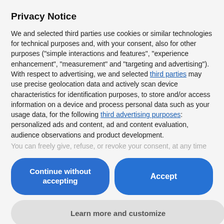Privacy Notice
We and selected third parties use cookies or similar technologies for technical purposes and, with your consent, also for other purposes ("simple interactions and features", "experience enhancement", "measurement" and "targeting and advertising").
With respect to advertising, we and selected third parties may use precise geolocation data and actively scan device characteristics for identification purposes, to store and/or access information on a device and process personal data such as your usage data, for the following third advertising purposes: personalized ads and content, ad and content evaluation, audience observations and product development.
You can freely give, refuse, or revoke your consent, at any time
Continue without accepting
Accept
Learn more and customize